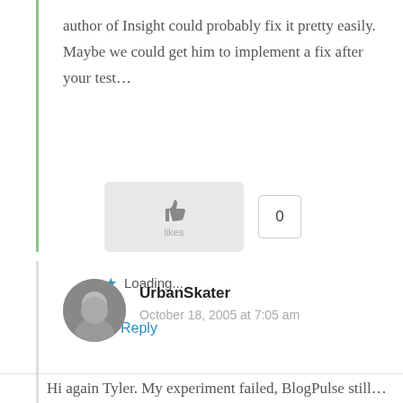author of Insight could probably fix it pretty easily. Maybe we could get him to implement a fix after your test…
[Figure (other): Like button (thumbs up icon) with a count of 0]
Loading...
↳ Reply
UrbanSkater
October 18, 2005 at 7:05 am
Hi again Tyler. My experiment failed, BlogPulse still…